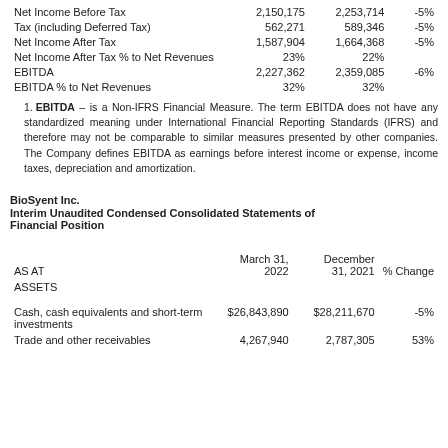|  | March 31, 2022 / col1 | Dec 31, 2021 / col2 | % Change |
| --- | --- | --- | --- |
| Net Income Before Tax | 2,150,175 | 2,253,714 | -5% |
| Tax (including Deferred Tax) | 562,271 | 589,346 | -5% |
| Net Income After Tax | 1,587,904 | 1,664,368 | -5% |
| Net Income After Tax % to Net Revenues | 23% | 22% |  |
| EBITDA | 2,227,362 | 2,359,085 | -6% |
| EBITDA % to Net Revenues | 32% | 32% |  |
EBITDA – is a Non-IFRS Financial Measure. The term EBITDA does not have any standardized meaning under International Financial Reporting Standards (IFRS) and therefore may not be comparable to similar measures presented by other companies. The Company defines EBITDA as earnings before interest income or expense, income taxes, depreciation and amortization.
BioSyent Inc.
Interim Unaudited Condensed Consolidated Statements of Financial Position
| AS AT | March 31, 2022 | December 31, 2021 | % Change |
| --- | --- | --- | --- |
| ASSETS |  |  |  |
| Cash, cash equivalents and short-term investments | $26,843,890 | $28,211,670 | -5% |
| Trade and other receivables | 4,267,940 | 2,787,305 | 53% |